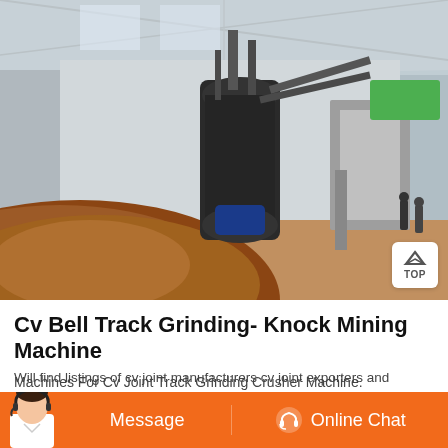[Figure (photo): Industrial indoor facility showing a large grinding/milling machine with pipes and conveyors, surrounded by a large mound of reddish-brown soil/ore material on a concrete floor. Several workers visible in background. Steel-frame shed structure with corrugated roof.]
Cv Bell Track Grinding- Knock Mining Machine
Machines For Cv Joint Track Grinding Crusher Machine. Machines for cv joint track grinding we purchasing cnc track
Will find listings of cv joint manufacturers cv joint exporters and